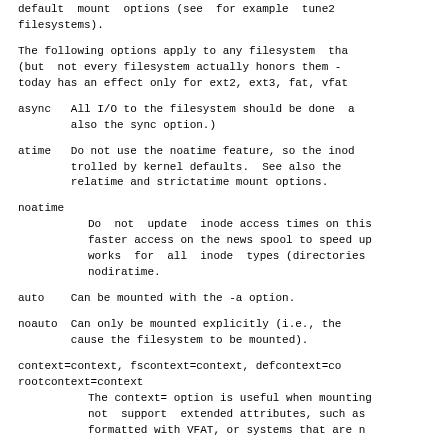default  mount  options (see  for example  tune2fs
filesystems).
The following options apply to any filesystem  tha
(but  not every filesystem actually honors them -
today has an effect only for ext2, ext3, fat, vfat
async   All I/O to the filesystem should be done  a
        also the sync option.)
atime   Do not use the noatime feature, so the inoo
        trolled by kernel defaults.  See also the
        relatime and strictatime mount options.
noatime
        Do  not  update  inode access times on this
        faster access on the news spool to speed up
        works  for  all  inode  types (directories
        nodiratime.
auto    Can be mounted with the -a option.
noauto  Can only be mounted explicitly (i.e., the
        cause the filesystem to be mounted).
context=context, fscontext=context, defcontext=co
rootcontext=context
        The context= option is useful when mounting
        not  support  extended attributes, such as
        formatted with VFAT, or systems that are n